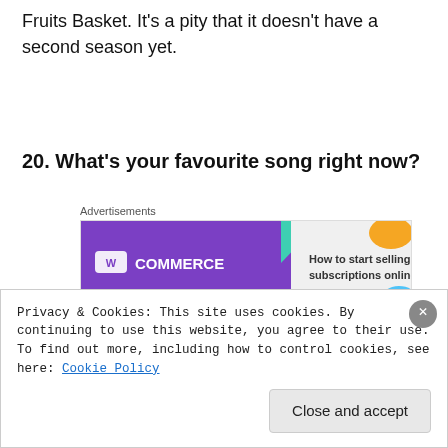Fruits Basket. It's a pity that it doesn't have a second season yet.
20. What's your favourite song right now?
[Figure (other): WooCommerce advertisement banner: 'How to start selling subscriptions online']
Right now would be 'Lost Game' by nulbarich, which
Privacy & Cookies: This site uses cookies. By continuing to use this website, you agree to their use. To find out more, including how to control cookies, see here: Cookie Policy